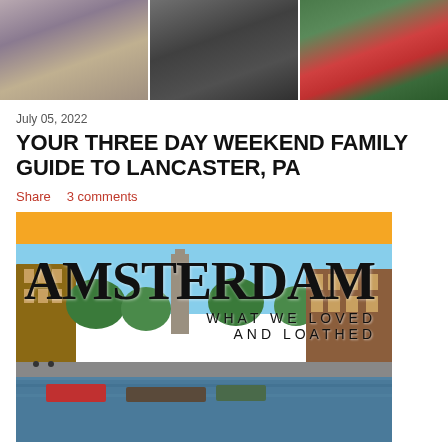[Figure (photo): Three travel photos side by side at top of page: left shows person's legs/feet, middle shows a bicycle, right shows person in red dress on grass]
July 05, 2022
YOUR THREE DAY WEEKEND FAMILY GUIDE TO LANCASTER, PA
Share   3 comments
[Figure (illustration): Amsterdam travel blog card with yellow bar at top, large AMSTERDAM text overlay on canal photo with text: WHAT WE LOVED AND LOATHED]